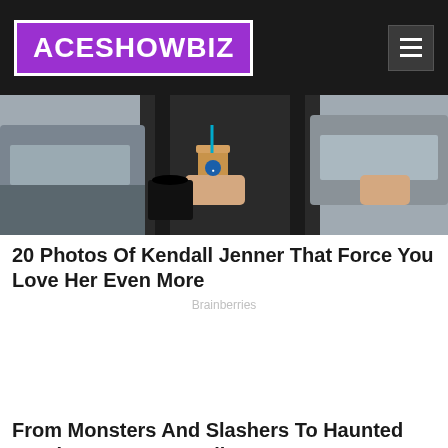ACESHOWBIZ
[Figure (photo): A person dressed in black holding a coffee cup with a straw, standing near cars on a street]
20 Photos Of Kendall Jenner That Force You Love Her Even More
Brainberries
[Figure (other): Advertisement block (empty/white space)]
From Monsters And Slashers To Haunted Hotels: Best Horror Films
Brainberries